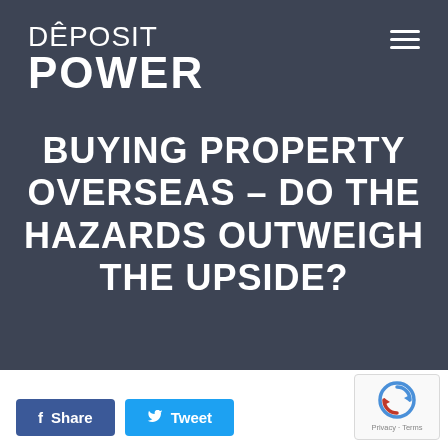[Figure (logo): Deposit Power logo with house icon above E in DEPOSIT, bold POWER text below]
BUYING PROPERTY OVERSEAS – DO THE HAZARDS OUTWEIGH THE UPSIDE?
[Figure (other): reCAPTCHA widget with circular arrow icon and Privacy - Terms text]
Share
Tweet